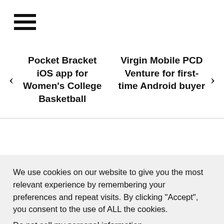[Figure (other): Hamburger menu icon with three horizontal lines]
< Pocket Bracket iOS app for Women's College Basketball   Virgin Mobile PCD Venture for first-time Android buyer >
Search
We use cookies on our website to give you the most relevant experience by remembering your preferences and repeat visits. By clicking “Accept”, you consent to the use of ALL the cookies.
Do not sell my personal information.
Cookie settings   ACCEPT   REJECT